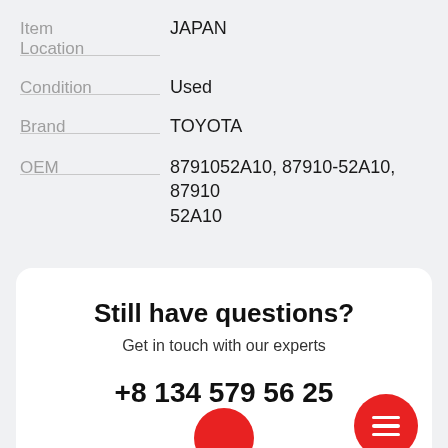| Field | Value |
| --- | --- |
| Item Location | JAPAN |
| Condition | Used |
| Brand | TOYOTA |
| OEM | 8791052A10, 87910-52A10, 87910 52A10 |
Still have questions?
Get in touch with our experts
+8 134 579 56 25
Call Us